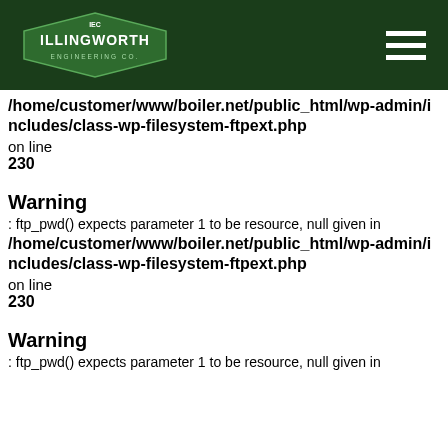[Figure (logo): Illingworth Engineering Co. logo on dark green header background with hamburger menu icon]
/home/customer/www/boiler.net/public_html/wp-admin/includes/class-wp-filesystem-ftpext.php
on line
230
Warning
: ftp_pwd() expects parameter 1 to be resource, null given in
/home/customer/www/boiler.net/public_html/wp-admin/includes/class-wp-filesystem-ftpext.php
on line
230
Warning
: ftp_pwd() expects parameter 1 to be resource, null given in